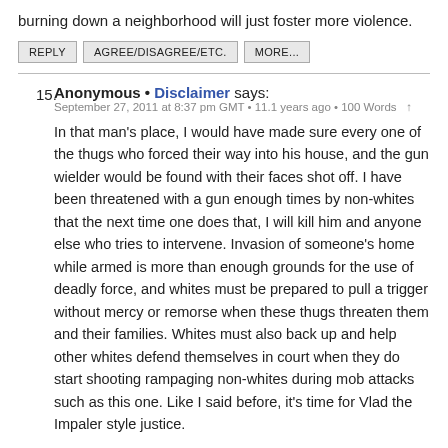burning down a neighborhood will just foster more violence.
REPLY   AGREE/DISAGREE/ETC.   MORE...
15. Anonymous • Disclaimer says:
September 27, 2011 at 8:37 pm GMT • 11.1 years ago • 100 Words ↑

In that man's place, I would have made sure every one of the thugs who forced their way into his house, and the gun wielder would be found with their faces shot off. I have been threatened with a gun enough times by non-whites that the next time one does that, I will kill him and anyone else who tries to intervene. Invasion of someone's home while armed is more than enough grounds for the use of deadly force, and whites must be prepared to pull a trigger without mercy or remorse when these thugs threaten them and their families. Whites must also back up and help other whites defend themselves in court when they do start shooting rampaging non-whites during mob attacks such as this one. Like I said before, it's time for Vlad the Impaler style justice.